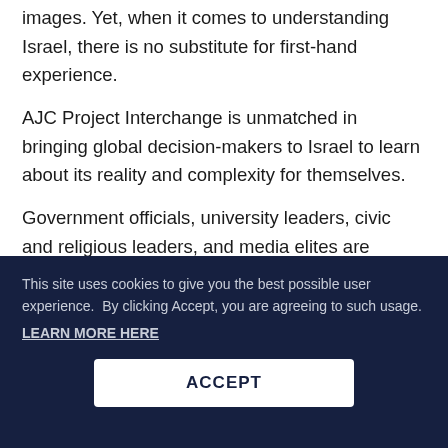images. Yet, when it comes to understanding Israel, there is no substitute for first-hand experience.
AJC Project Interchange is unmatched in bringing global decision-makers to Israel to learn about its reality and complexity for themselves.
Government officials, university leaders, civic and religious leaders, and media elites are exposed to diverse perspectives from Israeli leaders shaping headlines, innovators driving the “Start Up Nation,” and experts who share best practices and insights on issues and challenges facing Israel and the world.
This site uses cookies to give you the best possible user experience.  By clicking Accept, you are agreeing to such usage.
LEARN MORE HERE
ACCEPT